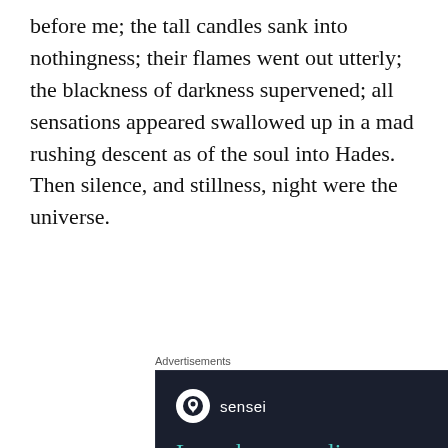before me; the tall candles sank into nothingness; their flames went out utterly; the blackness of darkness supervened; all sensations appeared swallowed up in a mad rushing descent as of the soul into Hades. Then silence, and stillness, night were the universe.
[Figure (infographic): Advertisement for Sensei — 'Launch your online course with WordPress' with a Learn More button and WordPress.com branding on a dark background.]